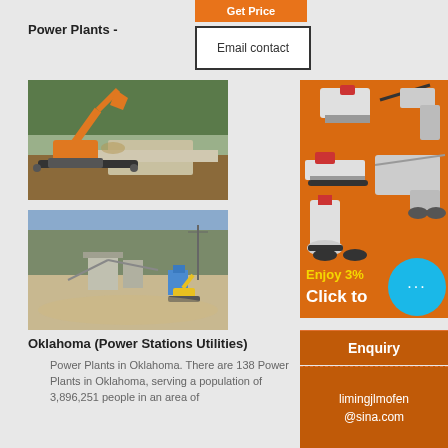Get Price
Power Plants -
Email contact
[Figure (photo): Excavator and crushing plant at a quarry/mining site with orange excavator loading materials onto conveyor belts, trees in background]
[Figure (photo): Aerial view of a quarry processing plant with conveyor belts, structures, and construction equipment including a yellow excavator]
Oklahoma (Power Stations Utilities)
Power Plants in Oklahoma. There are 138 Power Plants in Oklahoma, serving a population of 3,896,251 people in an area of
[Figure (photo): Advertisement banner showing mining/crushing machinery equipment on orange background]
Enjoy 3%
Click to
Enquiry
limingjlmofen@sina.com